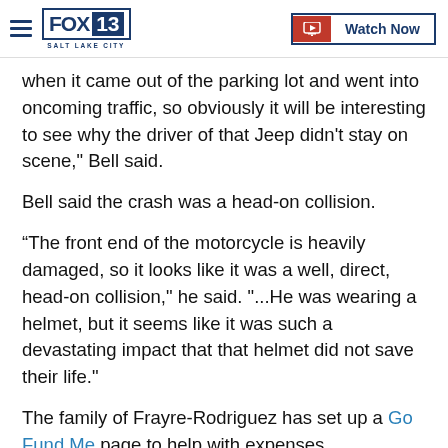FOX 13 SALT LAKE CITY | Watch Now
when it came out of the parking lot and went into oncoming traffic, so obviously it will be interesting to see why the driver of that Jeep didn't stay on scene," Bell said.
Bell said the crash was a head-on collision.
“The front end of the motorcycle is heavily damaged, so it looks like it was a well, direct, head-on collision," he said. "...He was wearing a helmet, but it seems like it was such a devastating impact that that helmet did not save their life."
The family of Frayre-Rodriguez has set up a Go Fund Me page to help with expenses